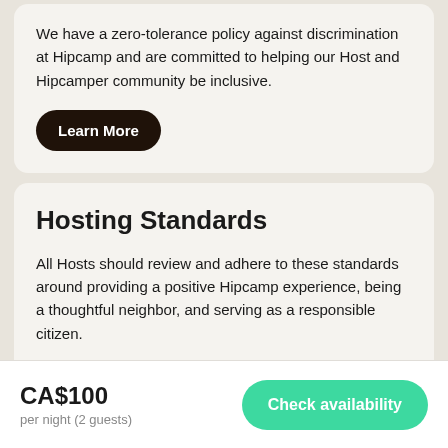We have a zero-tolerance policy against discrimination at Hipcamp and are committed to helping our Host and Hipcamper community be inclusive.
Learn More
Hosting Standards
All Hosts should review and adhere to these standards around providing a positive Hipcamp experience, being a thoughtful neighbor, and serving as a responsible citizen.
Learn More
CA$100
per night (2 guests)
Check availability